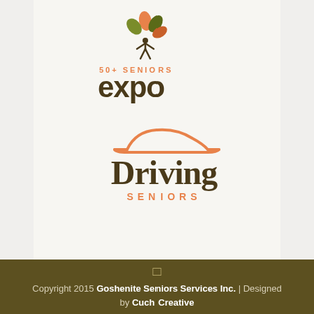[Figure (logo): 50+ Seniors Expo logo with stylized tree/flower figure icon in orange and olive green, text '50+ SENIORS' in orange uppercase spaced letters, and 'expo' in large dark brown bold lowercase]
[Figure (logo): Driving Seniors logo with orange car silhouette outline above, 'Driving' in large dark brown serif bold text, 'SENIORS' in orange uppercase spaced letters below]
Copyright 2015 Goshenite Seniors Services Inc. | Designed by Cuch Creative